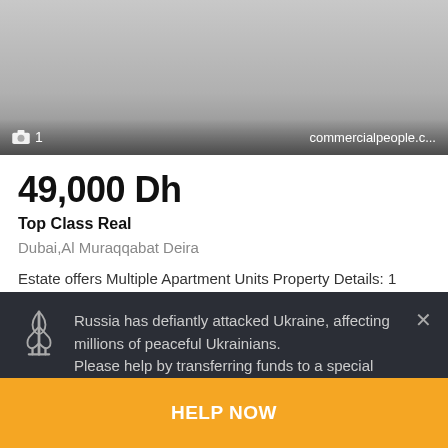[Figure (screenshot): Property listing screenshot showing a grayed image area with camera icon, count '1', and source 'commercialpeople.c...' overlaid on the bottom. Below is listing details for 49,000 Dh, Top Class Real estate in Dubai,Al Muraqqabat Deira.]
49,000 Dh
Top Class Real
Dubai,Al Muraqqabat Deira
Estate offers Multiple Apartment Units Property Details: 1 Bedroom Apartment 1.5 Bathroom with Tub 1 Month Free...
1 room
Russia has defiantly attacked Ukraine, affecting millions of peaceful Ukrainians.
Please help by transferring funds to a special humanitarian account of the NBU.
HELP NOW